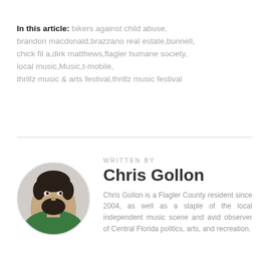In this article: bikers against child abuse, brandon macdonald,brazzano real estate,bunnell, chick fil a,dirk matthews,flagler humane society, local music,Music,t-mobile, thrillz music & arts festival,thrillz music festival
WRITTEN BY
Chris Gollon
[Figure (photo): Circular headshot photo of Chris Gollon, a man with dark hair and beard wearing a green shirt]
Chris Gollon is a Flagler County resident since 2004, as well as a staple of the local independent music scene and avid observer of Central Florida politics, arts, and recreation.